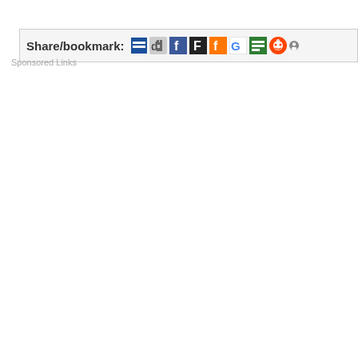[Figure (screenshot): Share/bookmark bar with social media icons including Delicious, Digg, Facebook, FriendFeed, Google, Diigo, Reddit, and a partial icon]
Sponsored Links